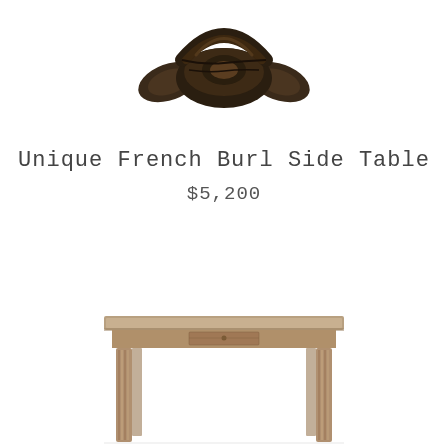[Figure (photo): Top-down or angled view of a dark brown ornate wooden side table base with carved legs and decorative details, shown from above against white background]
Unique French Burl Side Table
$5,200
[Figure (photo): A rectangular wooden console/side table with a flat top, single drawer in the apron, and four straight fluted legs in a natural wood finish, shown against a white background]